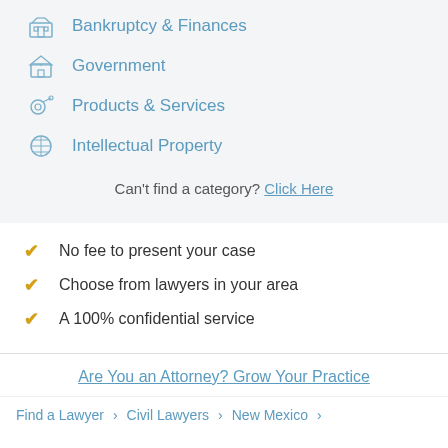Bankruptcy & Finances
Government
Products & Services
Intellectual Property
Can't find a category? Click Here
No fee to present your case
Choose from lawyers in your area
A 100% confidential service
Are You an Attorney? Grow Your Practice
Find a Lawyer > Civil Lawyers > New Mexico >